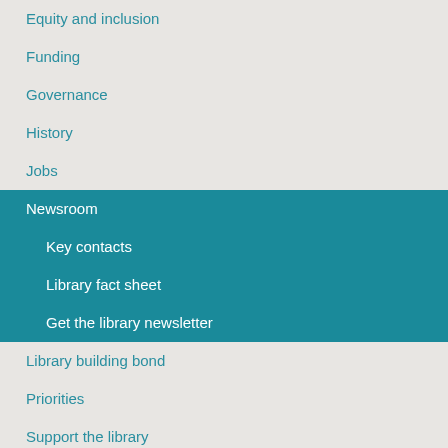Equity and inclusion
Funding
Governance
History
Jobs
Newsroom
Key contacts
Library fact sheet
Get the library newsletter
Library building bond
Priorities
Support the library
Sustainability